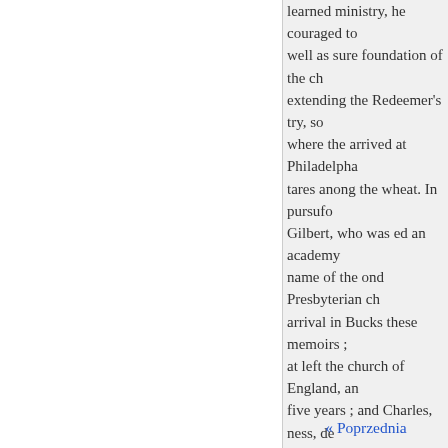learned ministry, he couraged to well as sure foundation of the ch extending the Redeemer's try, so where the arrived at Philadelphia tares anong the wheat. In pursufo Gilbert, who was ed an academy name of the ond Presbyterian ch arrival in Bucks these memoirs ; at left the church of England, an five years ; and Charles, ness, de Accordingly, byterian church at delphia for admission into their b

William Tennent, the father, nati he was very cordial. settled at Ea and ing of the synod afterwards, short time he was called to an el his celebrity, and preached at Be friends as to the success of the ti county. Being skill, erect and su learning, out of speak and write early period, in a new country pr languages, and well read in ness.
« Poprzednia